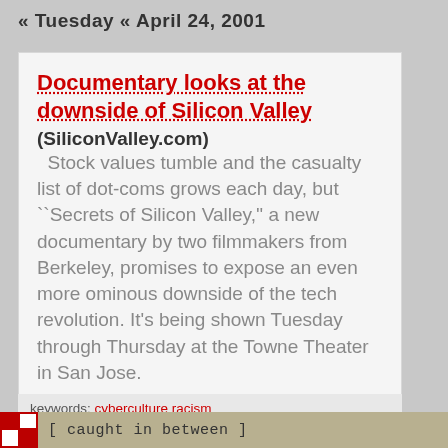« Tuesday « April 24, 2001
Documentary looks at the downside of Silicon Valley (SiliconValley.com)
Stock values tumble and the casualty list of dot-coms grows each day, but ``Secrets of Silicon Valley,'' a new documentary by two filmmakers from Berkeley, promises to expose an even more ominous downside of the tech revolution. It's being shown Tuesday through Thursday at the Towne Theater in San Jose.
09:25:29 AM
keywords: cyberculture racism
[ caught in between ]